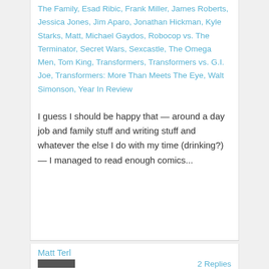The Family, Esad Ribic, Frank Miller, James Roberts, Jessica Jones, Jim Aparo, Jonathan Hickman, Kyle Starks, Matt, Michael Gaydos, Robocop vs. The Terminator, Secret Wars, Sexcastle, The Omega Men, Tom King, Transformers, Transformers vs. G.I. Joe, Transformers: More Than Meets The Eye, Walt Simonson, Year In Review
I guess I should be happy that — around a day job and family stuff and writing stuff and whatever the else I do with my time (drinking?) — I managed to read enough comics...
Matt Terl
2 Replies